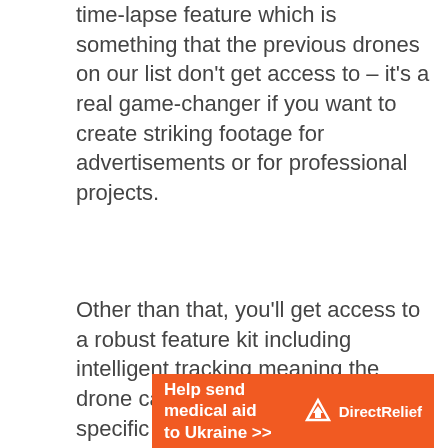time-lapse feature which is something that the previous drones on our list don't get access to – it's a real game-changer if you want to create striking footage for advertisements or for professional projects.
Other than that, you'll get access to a robust feature kit including intelligent tracking meaning the drone can follow along with a specific object without losing focus or getting lost.
[Figure (infographic): Orange advertisement banner for Direct Relief: 'Help send medical aid to Ukraine >>' with Direct Relief logo on the right]